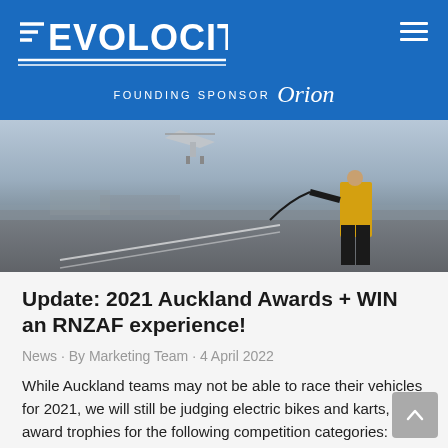EVOLOCITY — FOUNDING SPONSOR Orion
[Figure (photo): A person in a yellow vest and black pants on a tarmac/flight deck, with an aircraft or drone visible in the background against a hazy sky.]
Update: 2021 Auckland Awards + WIN an RNZAF experience!
News · By Marketing Team · 4 April 2022
While Auckland teams may not be able to race their vehicles for 2021, we will still be judging electric bikes and karts, and award trophies for the following competition categories: Best Report  Best Video  Best Overall Vehicle Innovation  Challenge Award  Collection...